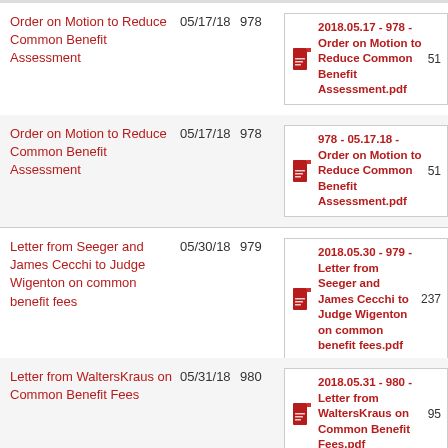Order on Motion to Reduce Common Benefit Assessment | 05/17/18 | 978 | 2018.05.17 - 978 - Order on Motion to Reduce Common Benefit Assessment.pdf | 51
Order on Motion to Reduce Common Benefit Assessment | 05/17/18 | 978 | 978 - 05.17.18 - Order on Motion to Reduce Common Benefit Assessment.pdf | 51
Letter from Seeger and James Cecchi to Judge Wigenton on common benefit fees | 05/30/18 | 979 | 2018.05.30 - 979 - Letter from Seeger and James Cecchi to Judge Wigenton on common benefit fees.pdf | 237
Letter from WaltersKraus on Common Benefit Fees | 05/31/18 | 980 | 2018.05.31 - 980 - Letter from WaltersKraus on Common Benefit Fees.pdf | 95